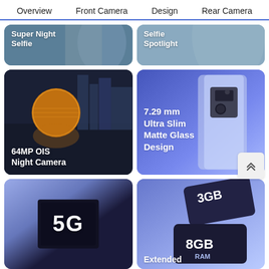Overview   Front Camera   Design   Rear Camera
[Figure (photo): Super Night Selfie feature card, partially visible at top]
[Figure (photo): Selfie Spotlight feature card, partially visible at top]
[Figure (photo): 64MP OIS Night Camera feature card showing city skyline with golden globe building]
[Figure (photo): 7.29 mm Ultra Slim Matte Glass Design feature card showing phone edge]
[Figure (photo): 5G feature card with dark chip background]
[Figure (photo): Extended RAM feature card showing 3GB and 8GB RAM chips]